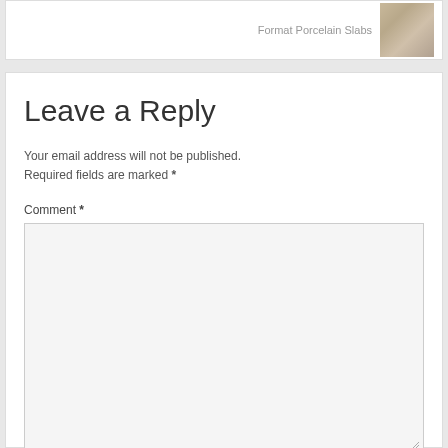Format Porcelain Slabs
Leave a Reply
Your email address will not be published. Required fields are marked *
Comment *